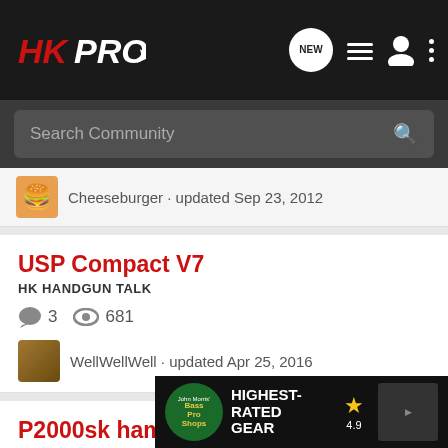HKPRO
Search Community
Cheeseburger · updated Sep 23, 2012
USP Compact V7
HK HANDGUN TALK
3  681
WellWellWell · updated Apr 25, 2016
P2000sk hammer spring
HK HANDGUN TALK
5  1K
ed
[Figure (screenshot): Bass Pro Shops advertisement banner: HIGHEST-RATED GEAR, rating 4.9 stars, with product image]